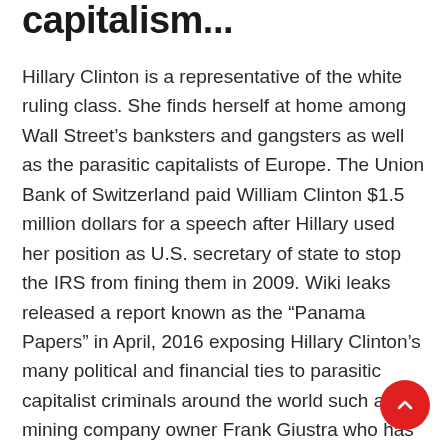capitalism...
Hillary Clinton is a representative of the white ruling class. She finds herself at home among Wall Street's banksters and gangsters as well as the parasitic capitalists of Europe. The Union Bank of Switzerland paid William Clinton $1.5 million dollars for a speech after Hillary used her position as U.S. secretary of state to stop the IRS from fining them in 2009. Wiki leaks released a report known as the “Panama Papers” in April, 2016 exposing Hillary Clinton’s many political and financial ties to parasitic capitalist criminals around the world such as mining company owner Frank Giustra who has donated $100 million of his stolen money to the Clinton Foundation.Clinton has no interest in ending the system that she benefits so much from.